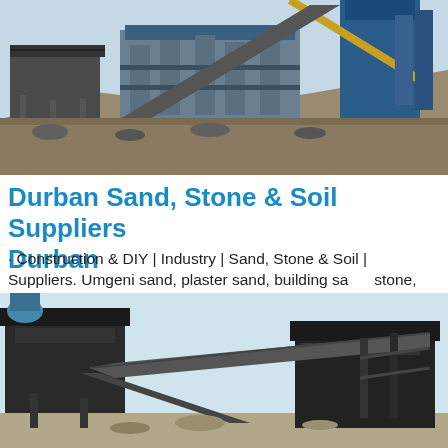[Figure (photo): Industrial sand/stone processing plant with blue steel structures, conveyor belts, silos and large machinery against a hillside backdrop]
Durban Sand, Stone & Soil Suppliers Durban
· Construction & DIY | Industry | Sand, Stone & Soil | Suppliers. Umgeni sand, plaster sand, building sand, stone, top soil, fill sand, rubble removal, plant hire, bricks, blocks & cement. View Contact Details. Location: 1 Stanley Copley Drive, Sydenham | Sydenham | Durban. Tel: +27 (0)31 578 1294.
[Figure (photo): Industrial quarry crushing and conveyor equipment with large black hoppers and conveyor belts against a light sky]